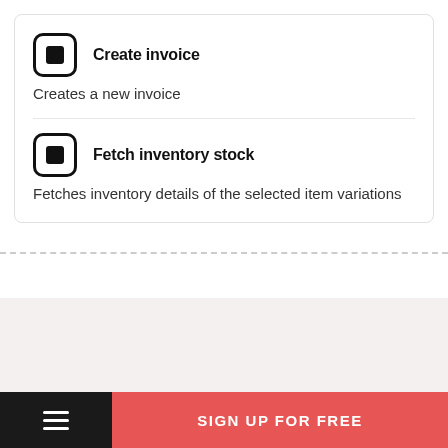Create invoice
Creates a new invoice
Fetch inventory stock
Fetches inventory details of the selected item variations
SIGN UP FOR FREE